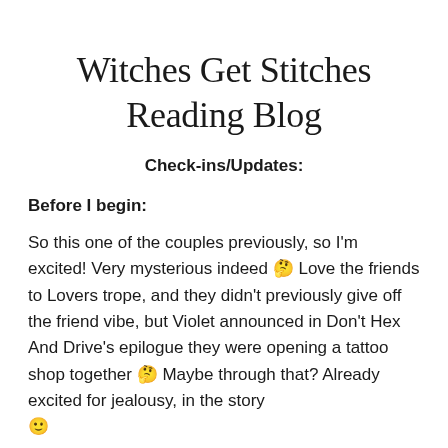Witches Get Stitches Reading Blog
Check-ins/Updates:
Before I begin:
So this one of the couples previously, so I'm excited! Very mysterious indeed 🤔 Love the friends to Lovers trope, and they didn't previously give off the friend vibe, but Violet announced in Don't Hex And Drive's epilogue they were opening a tattoo shop together 🤔 Maybe through that? Already excited for jealousy, in the story 🙂